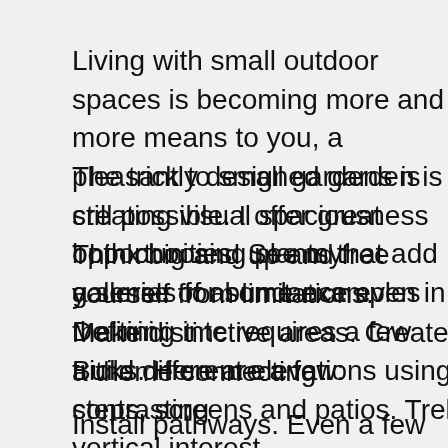Living with small outdoor spaces is becoming more and more means to you, a pleasantly designed garden is still possible. offer great opportunities. See my galleries for some examples
The trick to small gardens is creating visual spaciousness both choosing plants that add a sense of abundance even in the tini
Think big and up and free yourself from limitations. Defining inte requires a few tricks. Here are a few:
Make distinctive areas. Create a theme connecting contrasting
Build different elevations using steps, screens and patios. Trel vertical interest.
Install pathways. Even a few stepping stones placed here and for entry.
Plan outdoor living spaces keeping in mind how you want to us